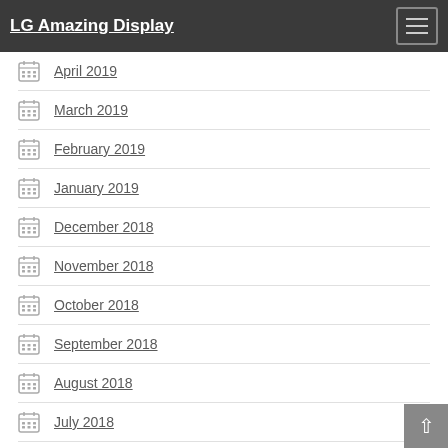LG Amazing Display
April 2019
March 2019
February 2019
January 2019
December 2018
November 2018
October 2018
September 2018
August 2018
July 2018
June 2018